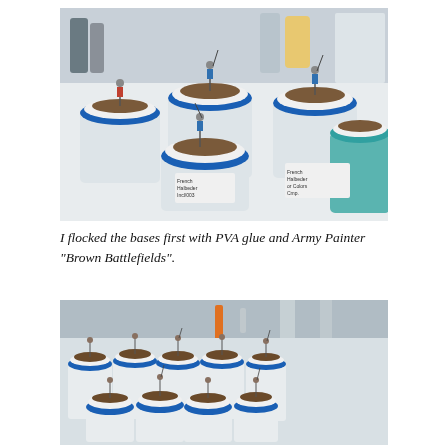[Figure (photo): Photo of multiple painted miniature soldiers (halberdiers and other figures) mounted on tops of plastic jars/containers with blue lids, displayed on a white surface. The jars have handwritten labels and the bases of the miniatures are flocked with brown material. Various hobby supplies visible in the background.]
I flocked the bases first with PVA glue and Army Painter "Brown Battlefields".
[Figure (photo): Overhead/angled photo of many miniature soldiers mounted on top of plastic containers with blue lids, viewed from above. The bases appear to be covered with brown flock material. The containers are white with blue stripe lids arranged in rows.]